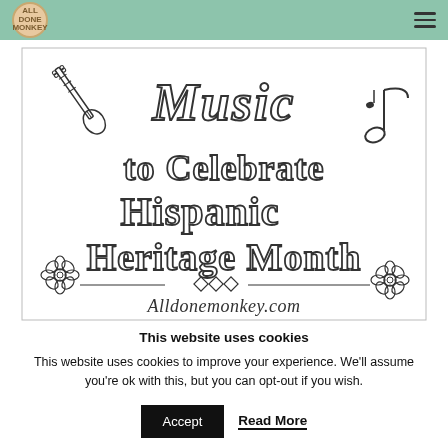All Done Monkey — navigation header with logo and hamburger menu
[Figure (illustration): Hand-drawn illustration with text reading 'Music to Celebrate Hispanic Heritage Month' with decorative music notes, guitar, and flowers. Alldonemonkey.com watermark at bottom.]
This website uses cookies
This website uses cookies to improve your experience. We'll assume you're ok with this, but you can opt-out if you wish.
Accept | Read More